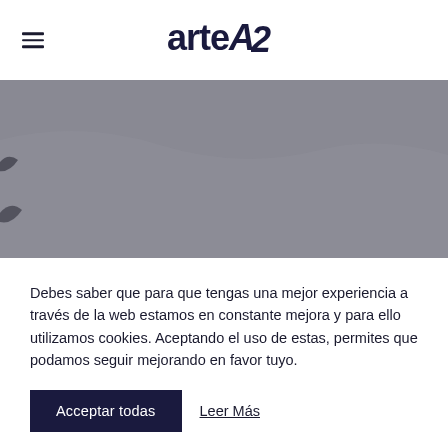arteA2
[Figure (photo): Gray-toned hero banner image with dark brush stroke or bird silhouette on left side, serving as a website header image for arteA2]
Debes saber que para que tengas una mejor experiencia a través de la web estamos en constante mejora y para ello utilizamos cookies. Aceptando el uso de estas, permites que podamos seguir mejorando en favor tuyo.
Acceptar todas | Leer Más